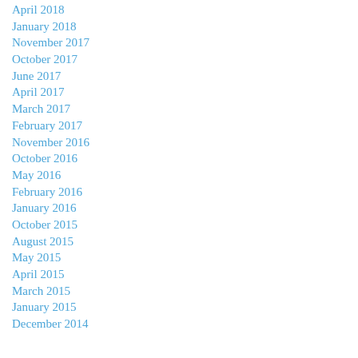April 2018
January 2018
November 2017
October 2017
June 2017
April 2017
March 2017
February 2017
November 2016
October 2016
May 2016
February 2016
January 2016
October 2015
August 2015
May 2015
April 2015
March 2015
January 2015
December 2014